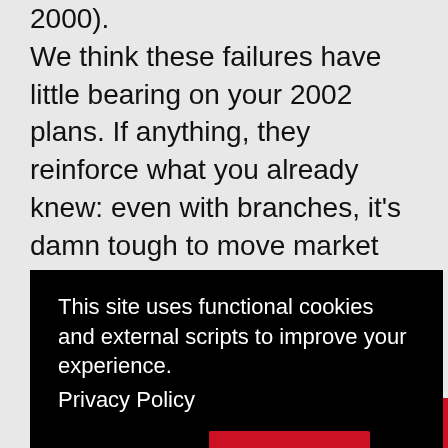2000). We think these failures have little bearing on your 2002 plans. If anything, they reinforce what you already knew: even with branches, it's damn tough to move market share in the transactional checking space. But Web-based content can be effectively used to support a multi-media promotional campaign (pp. 18- 20). For instance, Bank of America, which is blitzing our area with
This site uses functional cookies and external scripts to improve your experience. Privacy Policy
My settings
Accept
investments (pp. 15-16), especially high-interest